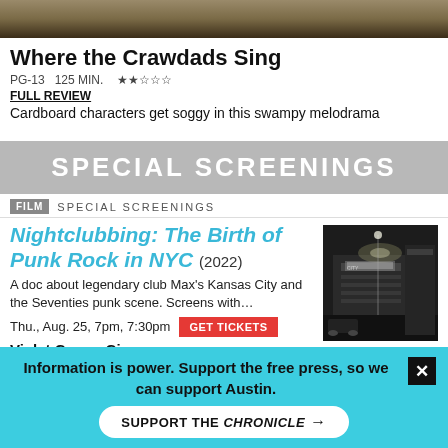[Figure (photo): Dark outdoor scene, brownish/brown sky background banner image at top of page]
Where the Crawdads Sing
PG-13  125 MIN.  ★★☆☆☆
FULL REVIEW
Cardboard characters get soggy in this swampy melodrama
SPECIAL SCREENINGS
FILM  SPECIAL SCREENINGS
Nightclubbing: The Birth of Punk Rock in NYC (2022)
A doc about legendary club Max's Kansas City and the Seventies punk scene. Screens with…
Thu., Aug. 25, 7pm, 7:30pm  GET TICKETS
Violet Crown Cinema
[Figure (photo): Black and white photo of a nighttime city street scene with lit storefront signs]
Information is power. Support the free press, so we can support Austin.
SUPPORT THE CHRONICLE →